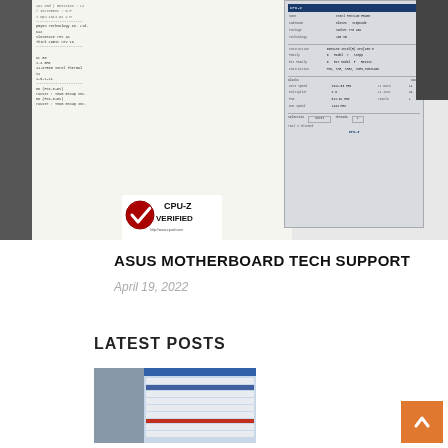[Figure (screenshot): CPU-Z verification screenshot showing system information panels with text-based CPU and memory details, alongside a CPU-Z Verified badge with red checkmark logo]
ASUS MOTHERBOARD TECH SUPPORT
April 19, 2022
LATEST POSTS
[Figure (screenshot): Thumbnail screenshot of a software application window showing file/system information]